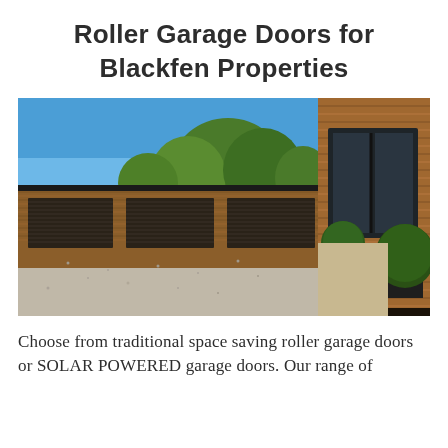Roller Garage Doors for Blackfen Properties
[Figure (photo): Modern property with timber cladding exterior featuring three dark roller garage doors on a gravel driveway, with topiary bushes and blue sky.]
Choose from traditional space saving roller garage doors or SOLAR POWERED garage doors. Our range of